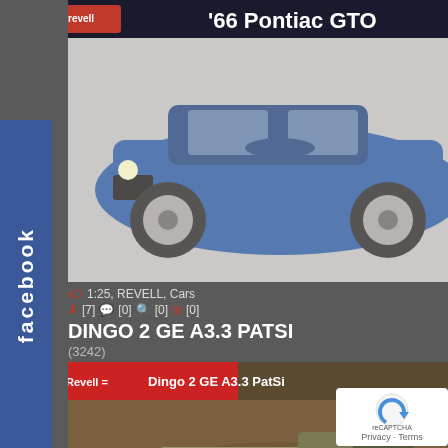[Figure (photo): Revell model kit box art showing a blue 1966 Pontiac GTO muscle car]
1:25, REVELL, Cars
[7] [0] [0] [0]
DINGO 2 GE A3.3 PATSI
(3242)
[Figure (photo): Revell model kit box art showing Dingo 2 GE A3.3 PatSi military armored vehicle, 1:35 scale]
1:35, Revell, Cars
[3] [0] [0] [0]
55 Chevy Indy Pace Car
(2496)
[Figure (photo): Partial view of Chevy Indy Pace Car model kit box art]
[Figure (logo): reCAPTCHA badge with Privacy and Terms text]